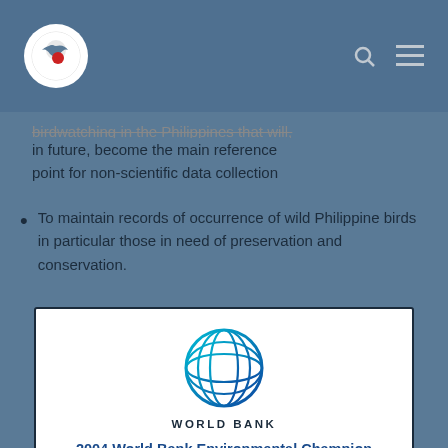Philippine Bird Records Committee header with logo, search, and menu icons
birdwatching in the Philippines that will, in future, become the main reference point for non-scientific data collection
To maintain records of occurrence of wild Philippine birds in particular those in need of preservation and conservation.
[Figure (logo): World Bank globe logo — blue gradient wireframe globe with latitude and longitude lines]
WORLD BANK
2004 World Bank Environmental Champion